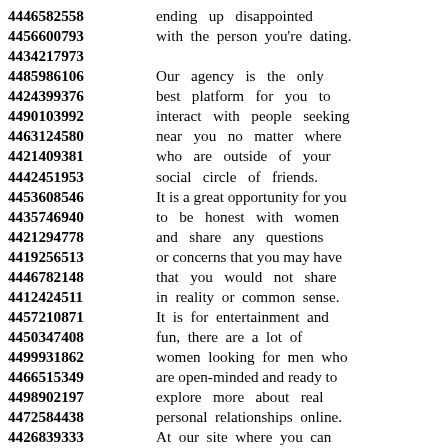4446582558 ending up disappointed
4456600793 with the person you're dating.
4434217973
4485986106 Our agency is the only
4424399376 best platform for you to
4490103992 interact with people seeking
4463124580 near you no matter where
4421409381 who are outside of your
4442451953 social circle of friends.
4453608546 It is a great opportunity for you
4435746940 to be honest with women
4421294778 and share any questions
4419256513 or concerns that you may have
4446782148 that you would not share
4412424511 in reality or common sense.
4457210871 It is for entertainment and
4450347408 fun, there are a lot of
4499931862 women looking for men who
4466515349 are open-minded and ready to
4498902197 explore more about real
4472584438 personal relationships online.
4426839333 At our site where you can
4481205712 find the hottest and most
4447553802 beautiful women in all
4498886237 classifieds in your local area.